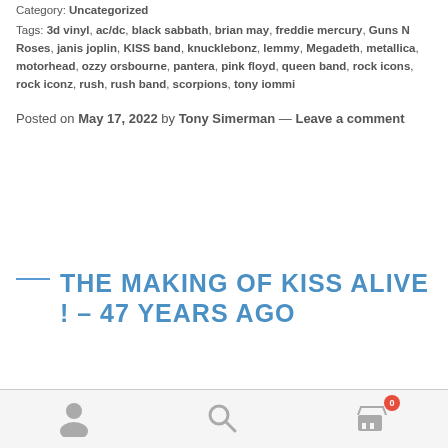Category: Uncategorized
Tags: 3d vinyl, ac/dc, black sabbath, brian may, freddie mercury, Guns N Roses, janis joplin, KISS band, knucklebonz, lemmy, Megadeth, metallica, motorhead, ozzy orsbourne, pantera, pink floyd, queen band, rock icons, rock iconz, rush, rush band, scorpions, tony iommi
Posted on May 17, 2022 by Tony Simerman — Leave a comment
THE MAKING OF KISS ALIVE ! – 47 YEARS AGO
0